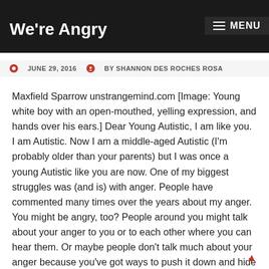Dear Young Autistic, We're Angry — MENU
JUNE 29, 2016  BY SHANNON DES ROCHES ROSA
Maxfield Sparrow unstrangemind.com [Image: Young white boy with an open-mouthed, yelling expression, and hands over his ears.] Dear Young Autistic, I am like you. I am Autistic. Now I am a middle-aged Autistic (I'm probably older than your parents) but I was once a young Autistic like you are now. One of my biggest struggles was (and is) with anger. People have commented many times over the years about my anger. You might be angry, too? People around you might talk about your anger to you or to each other where you can hear them. Or maybe people don't talk much about your anger because you've got ways to push it down and hide it from everyone. If you think you aren't angry at all, check to make sure you didn't hide it so well you can't see it yourself. Why was I an angry young Autistic? I felt stuck...